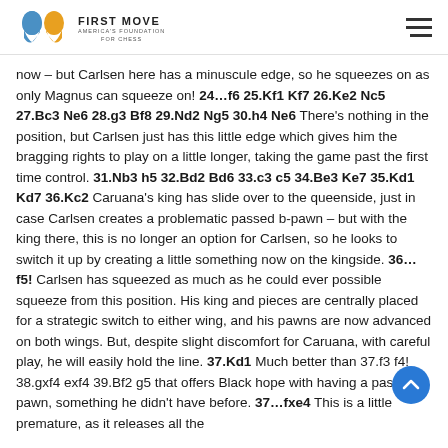FIRST MOVE — AMERICA'S FOUNDATION FOR CHESS
now – but Carlsen here has a minuscule edge, so he squeezes on as only Magnus can squeeze on! 24…f6 25.Kf1 Kf7 26.Ke2 Nc5 27.Bc3 Ne6 28.g3 Bf8 29.Nd2 Ng5 30.h4 Ne6 There's nothing in the position, but Carlsen just has this little edge which gives him the bragging rights to play on a little longer, taking the game past the first time control. 31.Nb3 h5 32.Bd2 Bd6 33.c3 c5 34.Be3 Ke7 35.Kd1 Kd7 36.Kc2 Caruana's king has slide over to the queenside, just in case Carlsen creates a problematic passed b-pawn – but with the king there, this is no longer an option for Carlsen, so he looks to switch it up by creating a little something now on the kingside. 36…f5! Carlsen has squeezed as much as he could ever possible squeeze from this position. His king and pieces are centrally placed for a strategic switch to either wing, and his pawns are now advanced on both wings. But, despite slight discomfort for Caruana, with careful play, he will easily hold the line. 37.Kd1 Much better than 37.f3 f4! 38.gxf4 exf4 39.Bf2 g5 that offers Black hope with having a passed pawn, something he didn't have before. 37…fxe4 This is a little premature, as it releases all the